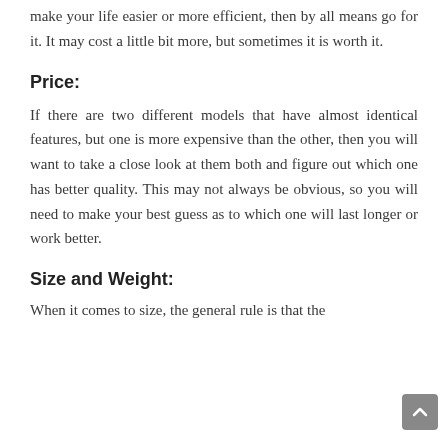make your life easier or more efficient, then by all means go for it. It may cost a little bit more, but sometimes it is worth it.
Price:
If there are two different models that have almost identical features, but one is more expensive than the other, then you will want to take a close look at them both and figure out which one has better quality. This may not always be obvious, so you will need to make your best guess as to which one will last longer or work better.
Size and Weight:
When it comes to size, the general rule is that the